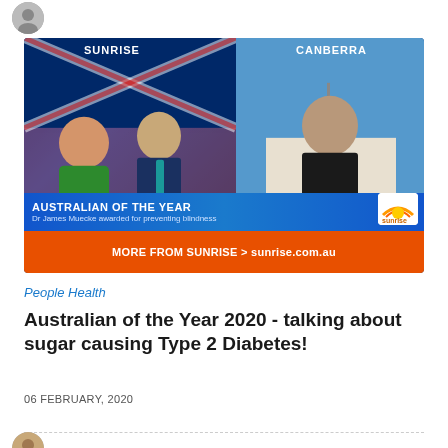[Figure (screenshot): TV screenshot of Sunrise program showing two news anchors on the left and a man in Canberra on the right. Lower third banners read 'AUSTRALIAN OF THE YEAR - Dr James Muecke awarded for preventing blindness' and 'MORE FROM SUNRISE > sunrise.com.au'. Sunrise logo visible in corner.]
People Health
Australian of the Year 2020 - talking about sugar causing Type 2 Diabetes!
06 FEBRUARY, 2020